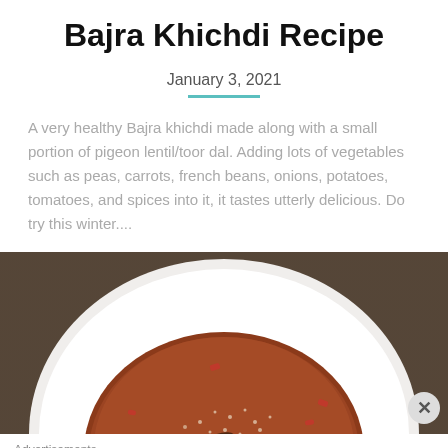Bajra Khichdi Recipe
January 3, 2021
A very healthy Bajra khichdi made along with a small portion of pigeon lentil/toor dal. Adding lots of vegetables such as peas, carrots, french beans, onions, potatoes, tomatoes, and spices into it, it tastes utterly delicious. Do try this winter....
[Figure (photo): A white plate with Bajra Khichdi (millet porridge with lentils and vegetables) served in it, viewed from above, on a dark wooden table background]
Advertisements
[Figure (other): Fandom on Tumblr advertisement banner with colorful gradient background]